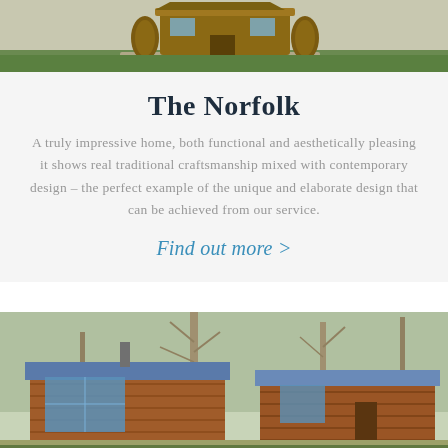[Figure (photo): Exterior photo of a log cabin/lodge with grass and gravel area, partially cropped at top of page]
The Norfolk
A truly impressive home, both functional and aesthetically pleasing it shows real traditional craftsmanship mixed with contemporary design – the perfect example of the unique and elaborate design that can be achieved from our service.
Find out more >
[Figure (photo): Exterior photo of a log cabin with large windows and blue roof, surrounded by trees]